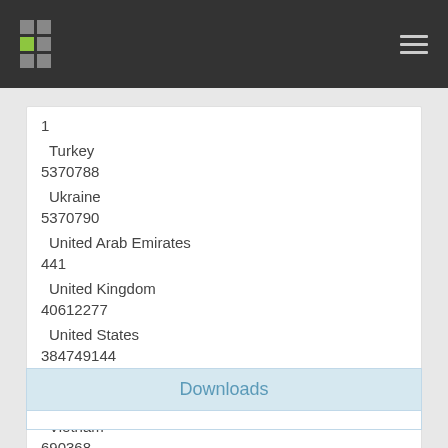Navigation bar with logo and menu
| Country | Value |
| --- | --- |
| 1 |  |
| Turkey |  |
| 5370788 |  |
| Ukraine |  |
| 5370790 |  |
| United Arab Emirates |  |
| 441 |  |
| United Kingdom |  |
| 40612277 |  |
| United States |  |
| 384749144 |  |
| Unknown Country |  |
| 2 |  |
| Vietnam |  |
| 690368 |  |
Downloads